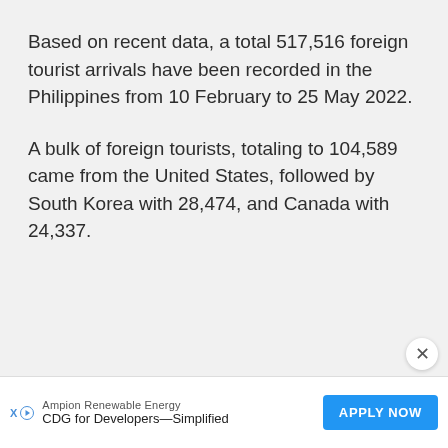Based on recent data, a total 517,516 foreign tourist arrivals have been recorded in the Philippines from 10 February to 25 May 2022.
A bulk of foreign tourists, totaling to 104,589 came from the United States, followed by South Korea with 28,474, and Canada with 24,337.
Ampion Renewable Energy CDG for Developers—Simplified APPLY NOW